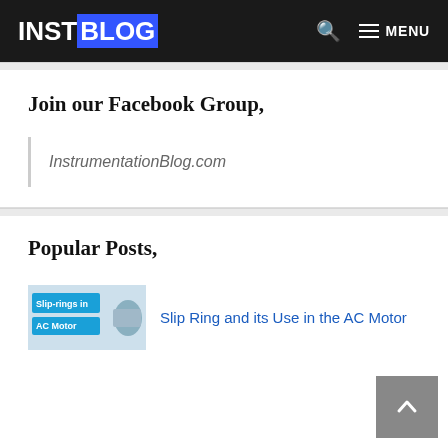INSTBLOG
Join our Facebook Group,
InstrumentationBlog.com
Popular Posts,
[Figure (screenshot): Thumbnail image for Slip-rings in AC Motor post with blue label text and motor image]
Slip Ring and its Use in the AC Motor